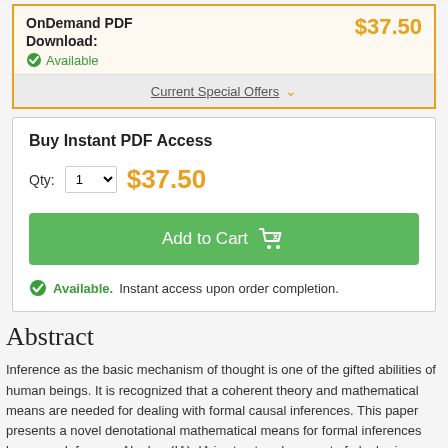OnDemand PDF Download:
$37.50
Available
Current Special Offers
Buy Instant PDF Access
Qty: 1   $37.50
Add to Cart
Available. Instant access upon order completion.
Abstract
Inference as the basic mechanism of thought is one of the gifted abilities of human beings. It is recognized that a coherent theory and mathematical means are needed for dealing with formal causal inferences. This paper presents a novel denotational mathematical means for formal inferences known as Inference Algebra (IA). IA is structured as a set of algebraic operators on a set of formal causations. The taxonomy and framework of formal causal inferences of IA are explored in three categories: a) Logical